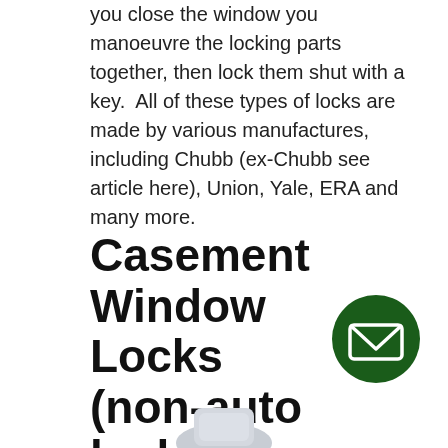you close the window you manoeuvre the locking parts together, then lock them shut with a key.  All of these types of locks are made by various manufactures, including Chubb (ex-Chubb see article here), Union, Yale, ERA and many more.
Casement Window Locks (non-auto locking)
[Figure (illustration): Dark green circular email/contact button icon with envelope symbol in white, positioned bottom-right]
[Figure (photo): Partial view of a casement window lock hardware component, light grey/silver coloured, visible at bottom of page]